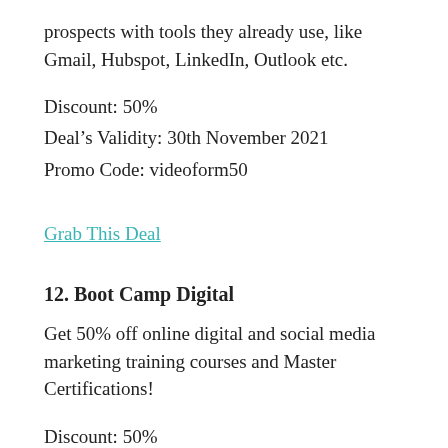prospects with tools they already use, like Gmail, Hubspot, LinkedIn, Outlook etc.
Discount: 50%
Deal’s Validity: 30th November 2021
Promo Code: videoform50
Grab This Deal
12. Boot Camp Digital
Get 50% off online digital and social media marketing training courses and Master Certifications!
Discount: 50%
Deal’s Validity: From 26 November 2021
Promo Code: N/A